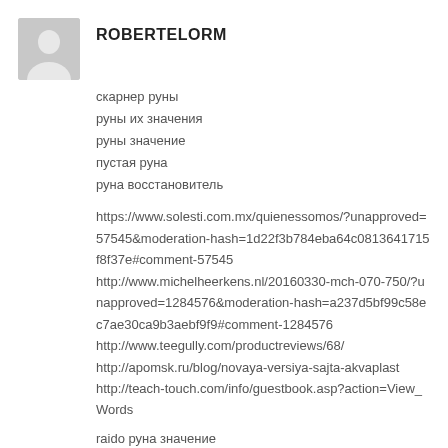[Figure (illustration): Gray avatar placeholder with a person silhouette icon]
ROBERTELORM
скарнер руны
руны их значения
руны значение
пустая руна
руна восстановитель
https://www.solesti.com.mx/quienessomos/?unapproved=57545&moderation-hash=1d22f3b784eba64c0813641715f8f37e#comment-57545
http://www.michelheerkens.nl/20160330-mch-070-750/?unapproved=1284576&moderation-hash=a237d5bf99c58ec7ae30ca9b3aebf9f9#comment-1284576
http://www.teegully.com/productreviews/68/
http://apomsk.ru/blog/novaya-versiya-sajta-akvaplast
http://teach-touch.com/info/guestbook.asp?action=View_Words
raido руна значение
руны ренгар
руны изображения значения